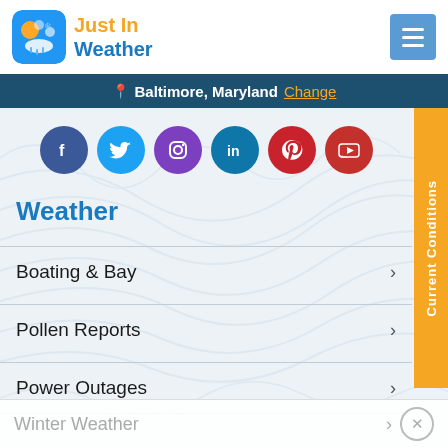[Figure (logo): Just In Weather logo with weather icon on blue rounded square background]
Just In Weather - Baltimore, Maryland Change
Weather
Boating & Bay
Pollen Reports
Power Outages
Winter Weather